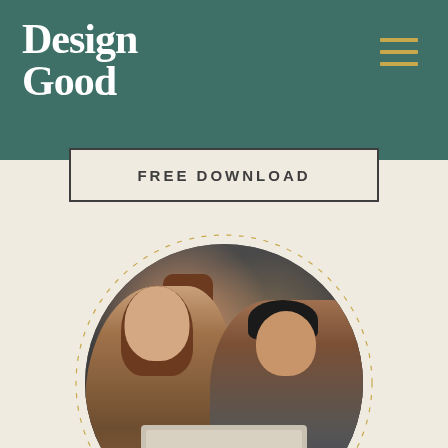[Figure (logo): Design Good logo in white serif text on teal/dark green header background]
[Figure (illustration): Hamburger menu icon with three gold horizontal lines on top right of header]
FREE DOWNLOAD
[Figure (photo): Circular photo of two people laughing together at a laptop, with decorative gold tick/dash ring border around the circle. Background is off-white/cream.]